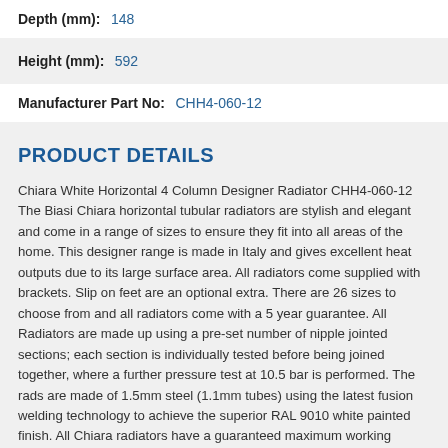| Depth (mm): | 148 |
| Height (mm): | 592 |
| Manufacturer Part No: | CHH4-060-12 |
PRODUCT DETAILS
Chiara White Horizontal 4 Column Designer Radiator CHH4-060-12 The Biasi Chiara horizontal tubular radiators are stylish and elegant and come in a range of sizes to ensure they fit into all areas of the home. This designer range is made in Italy and gives excellent heat outputs due to its large surface area. All radiators come supplied with brackets. Slip on feet are an optional extra. There are 26 sizes to choose from and all radiators come with a 5 year guarantee. All Radiators are made up using a pre-set number of nipple jointed sections; each section is individually tested before being joined together, where a further pressure test at 10.5 bar is performed. The rads are made of 1.5mm steel (1.1mm tubes) using the latest fusion welding technology to achieve the superior RAL 9010 white painted finish. All Chiara radiators have a guaranteed maximum working pressure of 8 bar.